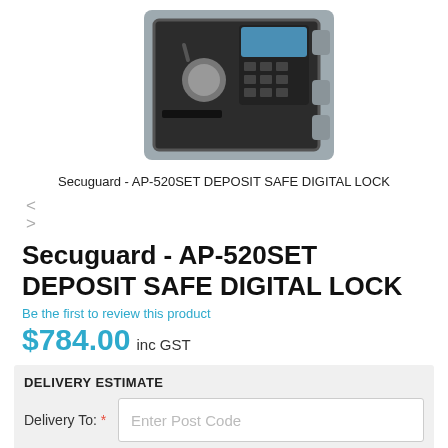[Figure (photo): Product photo of a Secuguard AP-520SET deposit safe with digital lock keypad, shown from the front at a slight angle, grey exterior with black door.]
Secuguard - AP-520SET DEPOSIT SAFE DIGITAL LOCK
< >
Secuguard - AP-520SET DEPOSIT SAFE DIGITAL LOCK
Be the first to review this product
$784.00 inc GST
DELIVERY ESTIMATE
Delivery To: * [Enter Post Code]
GET AN INSTANT QUOTE